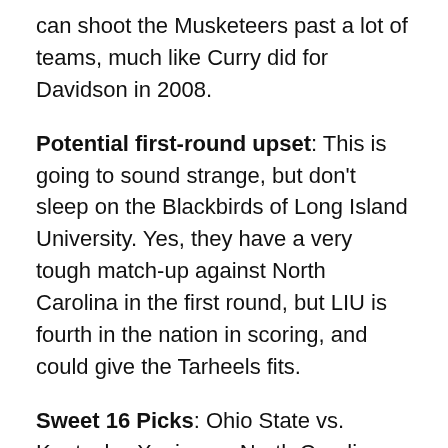can shoot the Musketeers past a lot of teams, much like Curry did for Davidson in 2008.
Potential first-round upset: This is going to sound strange, but don't sleep on the Blackbirds of Long Island University. Yes, they have a very tough match-up against North Carolina in the first round, but LIU is fourth in the nation in scoring, and could give the Tarheels fits.
Sweet 16 Picks: Ohio State vs. Kentucky, Xavier vs. North Carolina